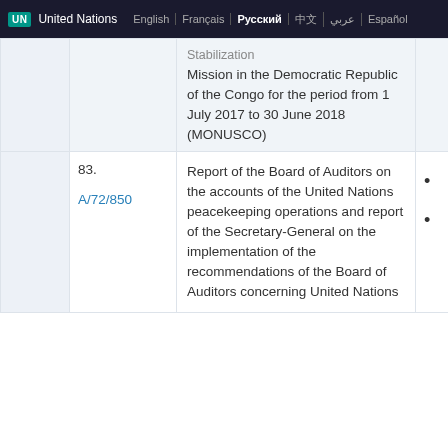UN United Nations | English | Français | Русский | 中文 | عربي | Español
|  | Doc | Description |  |
| --- | --- | --- | --- |
|  |  | Stabilization Mission in the Democratic Republic of the Congo for the period from 1 July 2017 to 30 June 2018 (MONUSCO) |  |
| 83. | A/72/850 | Report of the Board of Auditors on the accounts of the United Nations peacekeeping operations and report of the Secretary-General on the implementation of the recommendations of the Board of Auditors concerning United Nations | • • |